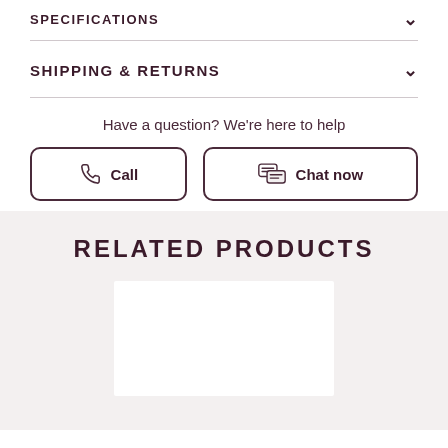SPECIFICATIONS
SHIPPING & RETURNS
Have a question? We're here to help
Call
Chat now
RELATED PRODUCTS
[Figure (other): Product card placeholder image, white rectangle on light gray background]